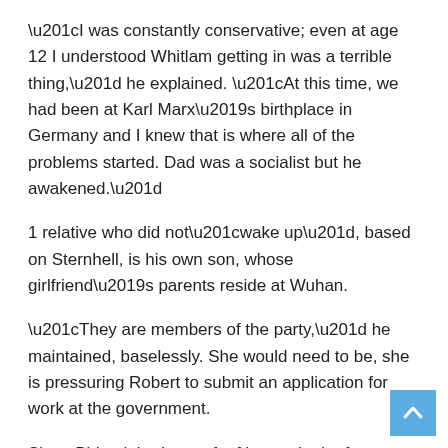“I was constantly conservative; even at age 12 I understood Whitlam getting in was a terrible thing,” he explained. “At this time, we had been at Karl Marx’s birthplace in Germany and I knew that is where all of the problems started. Dad was a socialist but he awakened.”
1 relative who did not“wake up”, based on Sternhell, is his own son, whose girlfriend’s parents reside at Wuhan.
“They are members of the party,” he maintained, baselessly. She would need to be, she is pressuring Robert to submit an application for work at the government.
Since Biden inherits a raft of issues in the former government, among the very volatile is that of China. In his waning days as commander-in-chief, Trump fired his last shots at Beijing–